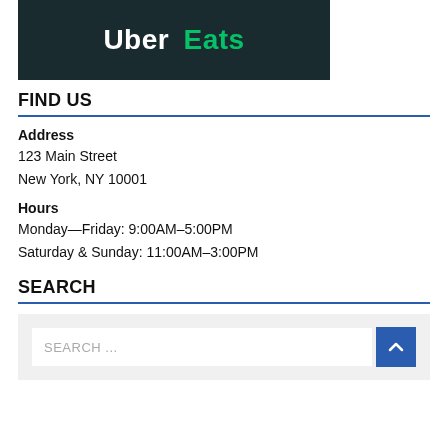[Figure (logo): Uber Eats logo on dark background banner]
FIND US
Address
123 Main Street
New York, NY 10001
Hours
Monday—Friday: 9:00AM–5:00PM
Saturday & Sunday: 11:00AM–3:00PM
SEARCH
SEARCH ...